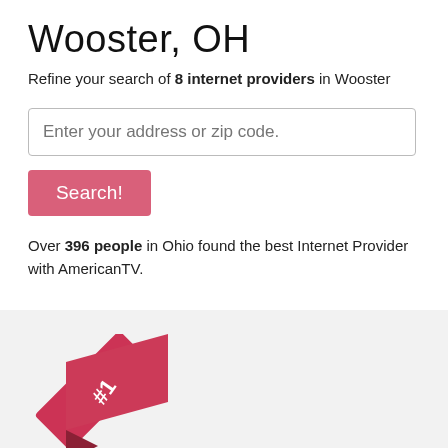Wooster, OH
Refine your search of 8 internet providers in Wooster
Over 396 people in Ohio found the best Internet Provider with AmericanTV.
[Figure (illustration): #1 ribbon/badge icon in red]